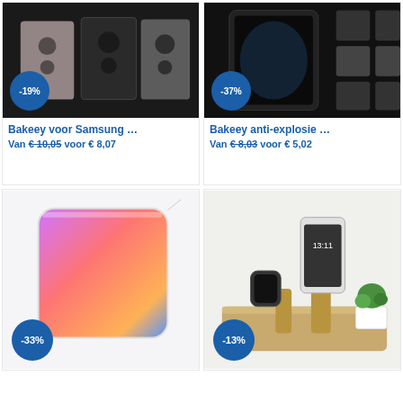[Figure (photo): Bakeey Samsung camera lens protector product image with -19% badge]
Bakeey voor Samsung …
Van €10,05 voor € 8,07
[Figure (photo): Bakeey anti-explosie screen protector product image with -37% badge]
Bakeey anti-explosie …
Van €8,03 voor € 5,02
[Figure (photo): Tempered glass screen protector product image with -33% badge]
[Figure (photo): iPhone and Apple Watch wooden charging dock with -13% badge]